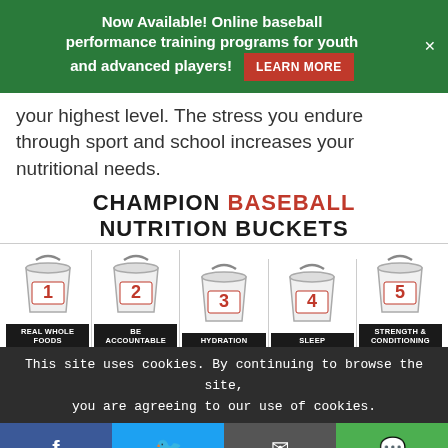Now Available! Online baseball performance training programs for youth and advanced players! LEARN MORE
your highest level. The stress you endure through sport and school increases your nutritional needs.
[Figure (infographic): Champion Baseball Nutrition Buckets infographic showing 5 buckets numbered 1-5 with labels: 1-Real Whole Foods, 2-Be Accountable, 3-Hydration, 4-Sleep, 5-Strength & Conditioning]
This site uses cookies. By continuing to browse the site, you are agreeing to our use of cookies.